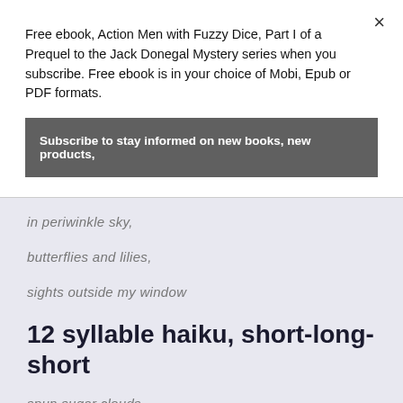Free ebook, Action Men with Fuzzy Dice, Part I of a Prequel to the Jack Donegal Mystery series when you subscribe. Free ebook is in your choice of Mobi, Epub or PDF formats.
Subscribe to stay informed on new books, new products,
in periwinkle sky,
butterflies and lilies,
sights outside my window
12 syllable haiku, short-long-short
spun sugar clouds